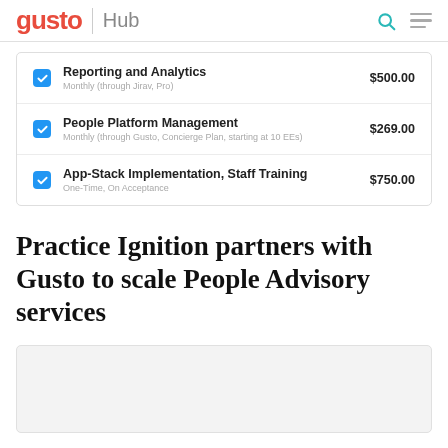gusto | Hub
| Item | Description | Price |
| --- | --- | --- |
| Reporting and Analytics | Monthly (through Jirav, Pro) | $500.00 |
| People Platform Management | Monthly (through Gusto, Concierge Plan, starting at 10 EEs) | $269.00 |
| App-Stack Implementation, Staff Training | One-Time, On Acceptance | $750.00 |
Practice Ignition partners with Gusto to scale People Advisory services
[Figure (photo): Bottom image/card area (partially visible, gray background)]